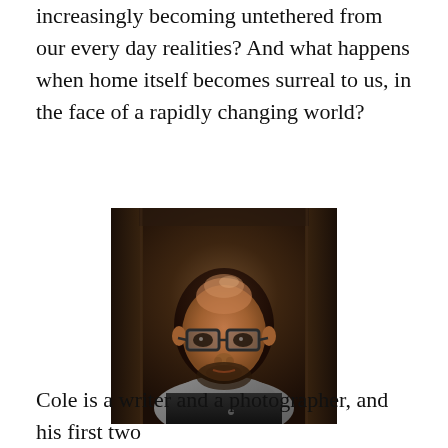increasingly becoming untethered from our every day realities? And what happens when home itself becomes surreal to us, in the face of a rapidly changing world?
[Figure (photo): Portrait photograph of a Black man wearing glasses and a dark apron over a gray collared shirt, photographed through or in front of a dark wooden frame structure.]
Cole is a writer and a photographer, and his first two